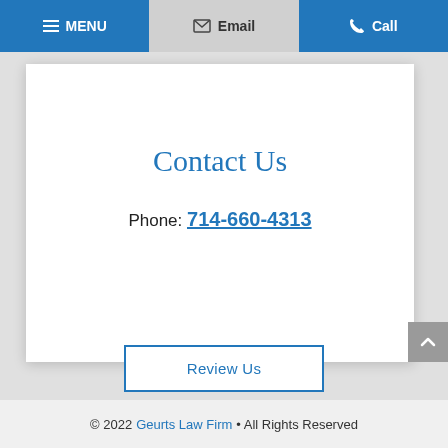MENU | Email | Call
Contact Us
Phone: 714-660-4313
Review Us
© 2022 Geurts Law Firm • All Rights Reserved